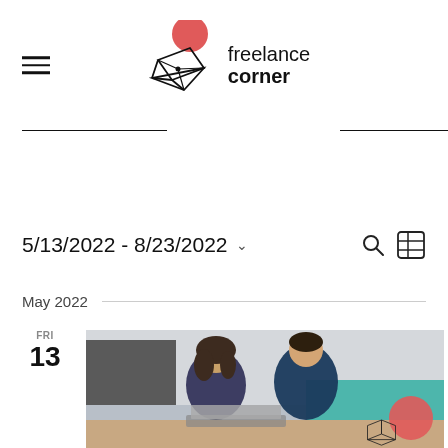freelance corner
5/13/2022 - 8/23/2022
May 2022
FRI 13
[Figure (photo): Two young professionals, a woman and a man, looking at a laptop together in an office setting. A coral red circle and small wireframe cube logo are visible in the bottom right corner.]